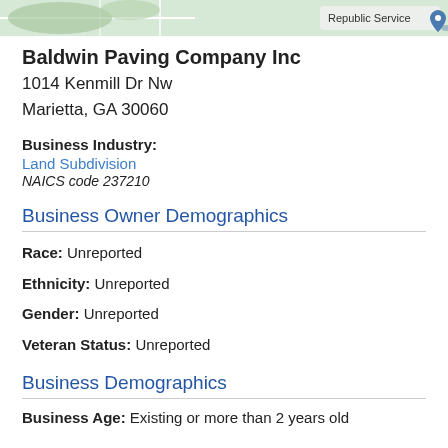[Figure (map): Partial map screenshot showing green area and Republic Service location marker]
Baldwin Paving Company Inc
1014 Kenmill Dr Nw
Marietta, GA 30060
Business Industry: Land Subdivision
NAICS code 237210
Business Owner Demographics
Race: Unreported
Ethnicity: Unreported
Gender: Unreported
Veteran Status: Unreported
Business Demographics
Business Age: Existing or more than 2 years old